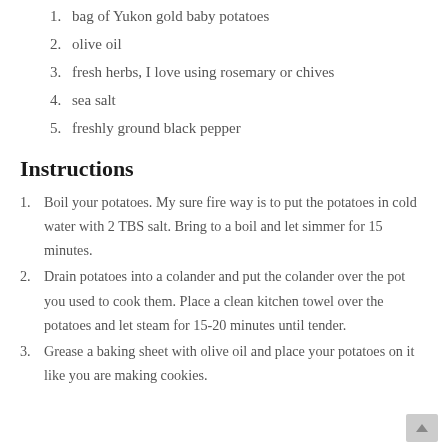1. bag of Yukon gold baby potatoes
2. olive oil
3. fresh herbs, I love using rosemary or chives
4. sea salt
5. freshly ground black pepper
Instructions
1. Boil your potatoes. My sure fire way is to put the potatoes in cold water with 2 TBS salt. Bring to a boil and let simmer for 15 minutes.
2. Drain potatoes into a colander and put the colander over the pot you used to cook them. Place a clean kitchen towel over the potatoes and let steam for 15-20 minutes until tender.
3. Grease a baking sheet with olive oil and place your potatoes on it like you are making cookies.